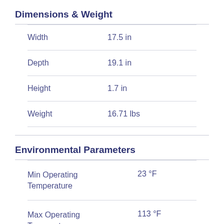Dimensions & Weight
| Property | Value |
| --- | --- |
| Width | 17.5 in |
| Depth | 19.1 in |
| Height | 1.7 in |
| Weight | 16.71 lbs |
Environmental Parameters
| Property | Value |
| --- | --- |
| Min Operating Temperature | 23 °F |
| Max Operating Temperature | 113 °F |